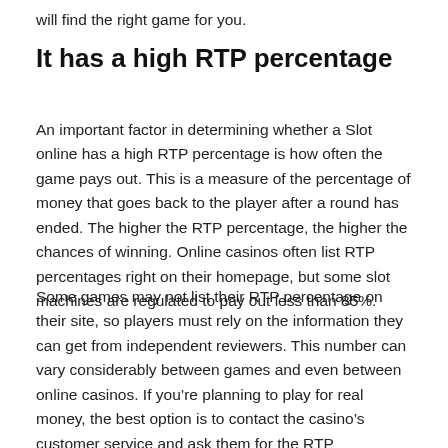will find the right game for you.
It has a high RTP percentage
An important factor in determining whether a Slot online has a high RTP percentage is how often the game pays out. This is a measure of the percentage of money that goes back to the player after a round has ended. The higher the RTP percentage, the higher the chances of winning. Online casinos often list RTP percentages right on their homepage, but some slot machines are regulated to pay out less than 85%.
Some games may not list their RTP percentage on their site, so players must rely on the information they can get from independent reviewers. This number can vary considerably between games and even between online casinos. If you’re planning to play for real money, the best option is to contact the casino’s customer service and ask them for the RTP percentage of the game you’re considering. RTP is closely